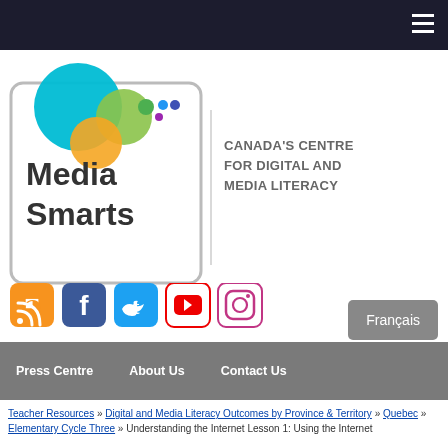[Figure (logo): MediaSmarts logo — overlapping coloured circles (cyan, green, orange, purple, blue dots) above a rounded rectangle containing bold 'Media Smarts' text, next to tagline 'Canada's Centre for Digital and Media Literacy']
[Figure (infographic): Row of social media icon buttons: RSS (orange), Facebook (blue), Twitter (cyan), YouTube (red/white), Instagram (gradient/white)]
Français
Press Centre   About Us   Contact Us
Teacher Resources » Digital and Media Literacy Outcomes by Province & Territory » Quebec » Elementary Cycle Three » Understanding the Internet Lesson 1: Using the Internet